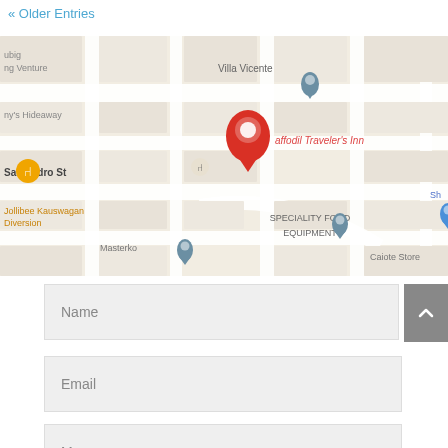« Older Entries
[Figure (map): Google Maps screenshot showing the location of Daffodil Traveler's Inn near San Pedro St, with nearby landmarks including Villa Vicente, Jollibee Kauswagan Diversion, Masterko, Speciality Food Equipment, and Caiote Store. A red location pin marks the inn's position.]
Name
Email
Message